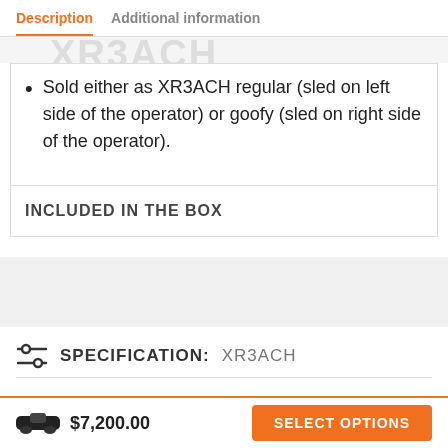Description  Additional information
Sold either as XR3ACH regular (sled on left side of the operator) or goofy (sled on right side of the operator).
INCLUDED IN THE BOX
SPECIFICATION: XR3ACH
$7,200.00
SELECT OPTIONS